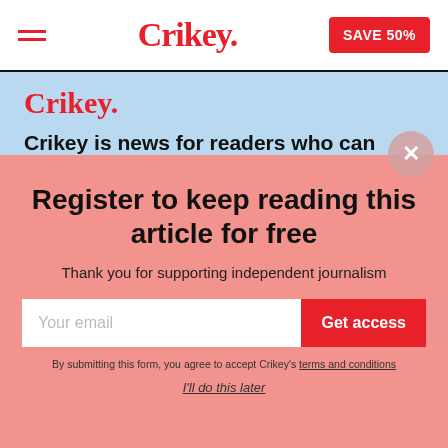Crikey. SAVE 50%
[Figure (screenshot): Crikey website article background with light blue header showing Crikey logo in red and article text 'Crikey is news for readers who can']
Register to keep reading this article for free
Thank you for supporting independent journalism
Your email  Get access
By submitting this form, you agree to accept Crikey's terms and conditions
I'll do this later